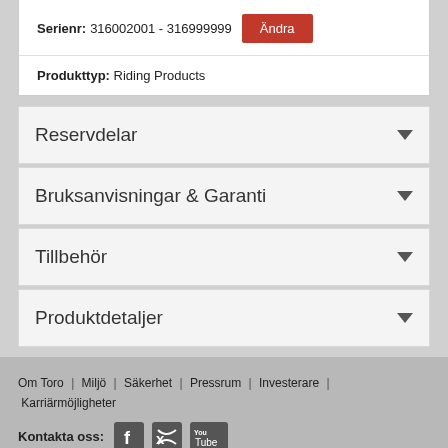Serienr: 316002001 - 316999999 Ändra
Produkttyp: Riding Products
Reservdelar
Bruksanvisningar & Garanti
Tillbehör
Produktdetaljer
Om Toro | Miljö | Säkerhet | Pressrum | Investerare | Karriärmöjligheter
Kontakta oss: [Facebook] [Twitter] [YouTube]
Copyright © 2020 The Toro Company. Med ensamrätt.
DMCA/copyrightpolicy | Användarvillkor | Integritetspolicy